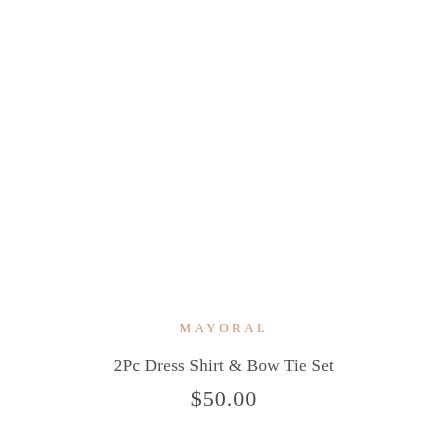[Figure (photo): Product photo area (white/blank)]
MAYORAL
2Pc Dress Shirt & Bow Tie Set
$50.00